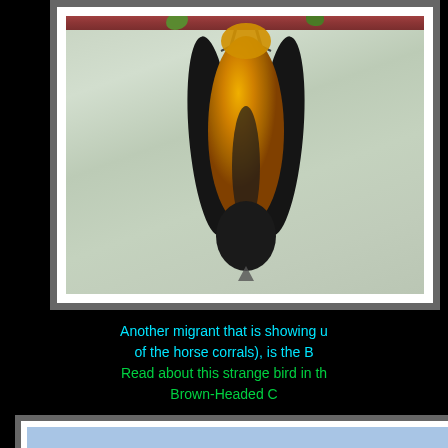[Figure (photo): Close-up photograph of a bird (likely an oriole) hanging upside down from a branch, showing its yellow/orange breast and black wings and head, with a soft green background]
Another migrant that is showing u of the horse corrals), is the B Read about this strange bird in th Brown-Headed C
[Figure (photo): Bottom of page showing the top of another framed photo with a light blue/gray bar visible]